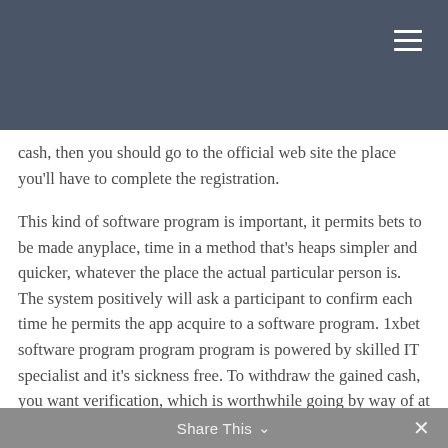cash, then you should go to the official web site the place you'll have to complete the registration.
This kind of software program is important, it permits bets to be made anyplace, time in a method that's heaps simpler and quicker, whatever the place the actual particular person is. The system positively will ask a participant to confirm each time he permits the app acquire to a software program. 1xbet software program program program is powered by skilled IT specialist and it's sickness free. To withdraw the gained cash, you want verification, which is worthwhile going by way of at the registration stage. To get hold of full entry to the alternatives of the making use of, the client has to endure the registration and confirmation procedure, which is ready to take only some minutes.
Share This